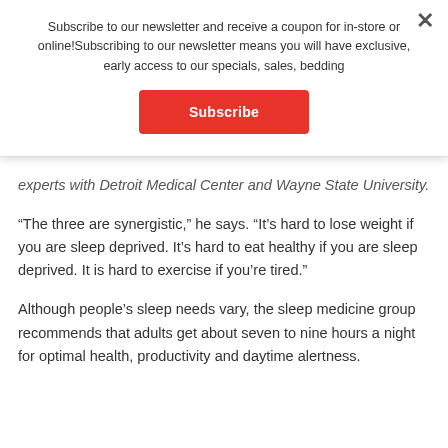Subscribe to our newsletter and receive a coupon for in-store or online!Subscribing to our newsletter means you will have exclusive, early access to our specials, sales, bedding
Subscribe
experts with Detroit Medical Center and Wayne State University.
“The three are synergistic,” he says. “It’s hard to lose weight if you are sleep deprived. It’s hard to eat healthy if you are sleep deprived. It is hard to exercise if you’re tired.”
Although people’s sleep needs vary, the sleep medicine group recommends that adults get about seven to nine hours a night for optimal health, productivity and daytime alertness.